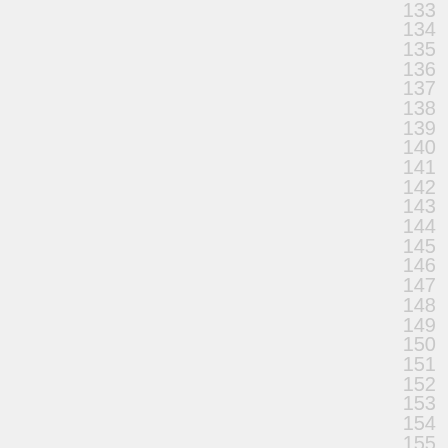133
134
135
136
137
138
139
140
141
142
143
144
145
146
147
148
149
150
151
152
153
154
155